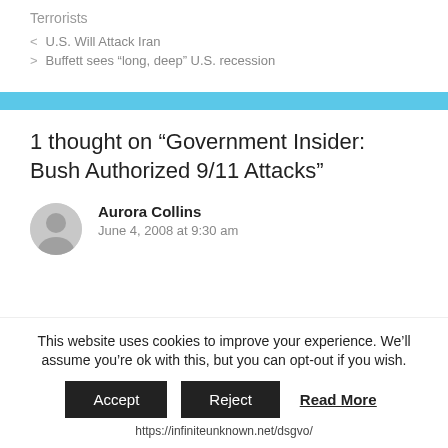Terrorists
< U.S. Will Attack Iran
> Buffett sees “long, deep” U.S. recession
1 thought on “Government Insider: Bush Authorized 9/11 Attacks”
Aurora Collins
June 4, 2008 at 9:30 am
This website uses cookies to improve your experience. We’ll assume you’re ok with this, but you can opt-out if you wish.
Accept   Reject   Read More
https://infiniteunknown.net/dsgvo/